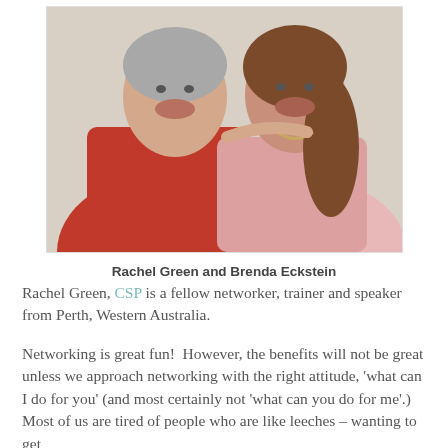[Figure (photo): Photo of two women smiling together; woman on left in red satin dress with short grey hair, woman on right in pink top with long brown hair and pearl necklace]
Rachel Green and Brenda Eckstein
Rachel Green, CSP is a fellow networker, trainer and speaker from Perth, Western Australia.
Networking is great fun!  However, the benefits will not be great unless we approach networking with the right attitude, 'what can I do for you' (and most certainly not 'what can you do for me'.)  Most of us are tired of people who are like leeches – wanting to get